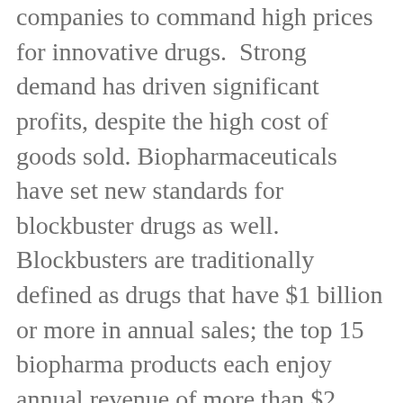companies to command high prices for innovative drugs. Strong demand has driven significant profits, despite the high cost of goods sold. Biopharmaceuticals have set new standards for blockbuster drugs as well. Blockbusters are traditionally defined as drugs that have $1 billion or more in annual sales; the top 15 biopharma products each enjoy annual revenue of more than $2 billion, with some, such as the anti-inflammatory drug Humira, generating sales of more than $10 billion a year. For many players, the biggest challenge has been simply making enough product to sell.